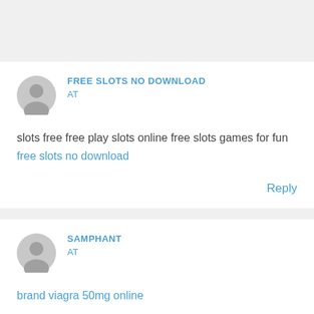FREE SLOTS NO DOWNLOAD
AT
slots free free play slots online free slots games for fun free slots no download
Reply
SAMPHANT
AT
brand viagra 50mg online